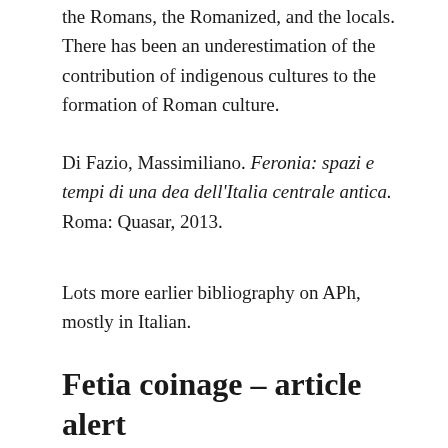the Romans, the Romanized, and the locals. There has been an underestimation of the contribution of indigenous cultures to the formation of Roman culture.
Di Fazio, Massimiliano. Feronia: spazi e tempi di una dea dell'Italia centrale antica. Roma: Quasar, 2013.
Lots more earlier bibliography on APh, mostly in Italian.
Fetia coinage – article alert